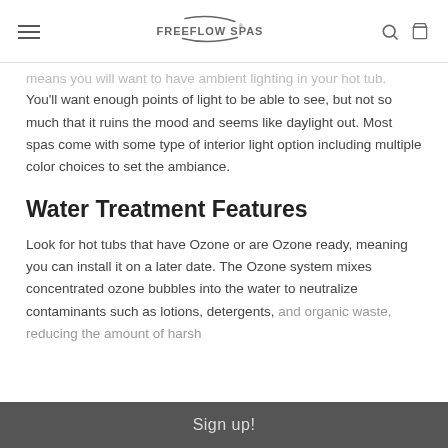FREEFLOW SPAS
means you will want to have ambient lighting in your hot tub. You'll want enough points of light to be able to see, but not so much that it ruins the mood and seems like daylight out. Most spas come with some type of interior light option including multiple color choices to set the ambiance.
Water Treatment Features
Look for hot tubs that have Ozone or are Ozone ready, meaning you can install it on a later date. The Ozone system mixes concentrated ozone bubbles into the water to neutralize contaminants such as lotions, detergents, and organic waste, reducing the amount of harsh
Sign up!